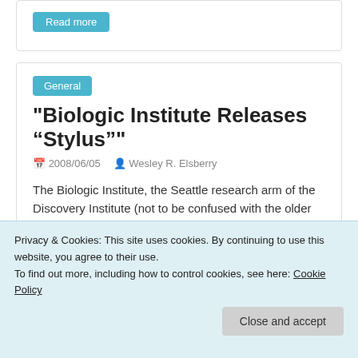[Figure (screenshot): Top portion of a web article card with a teal/blue 'Read more' style button, partially visible at the top of the page.]
General
Biologic Institute Releases “Stylus”
2008/06/05   Wesley R. Elsberry
The Biologic Institute, the Seattle research arm of the Discovery Institute (not to be confused with the older North American
Read more
Privacy & Cookies: This site uses cookies. By continuing to use this website, you agree to their use.
To find out more, including how to control cookies, see here: Cookie Policy
Close and accept
is Fair, Judge Rules